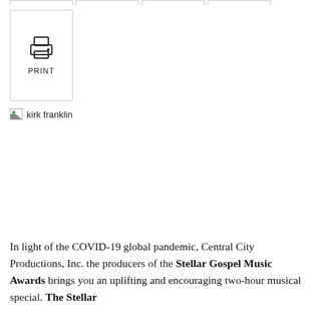[Figure (other): Print button UI element with printer icon and PRINT label inside a bordered box, with tab stubs at the top]
[Figure (photo): Broken image placeholder labeled 'kirk franklin']
In light of the COVID-19 global pandemic, Central City Productions, Inc. the producers of the Stellar Gospel Music Awards brings you an uplifting and encouraging two-hour musical special. The Stellar